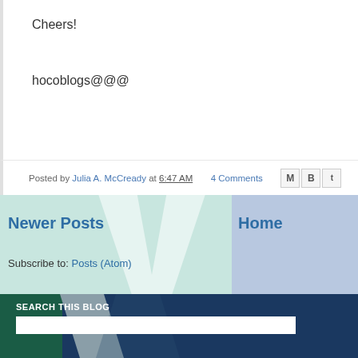Cheers!
hocoblogs@@@
Posted by Julia A. McCready at 6:47 AM   4 Comments
Newer Posts
Home
Subscribe to: Posts (Atom)
SEARCH THIS BLOG